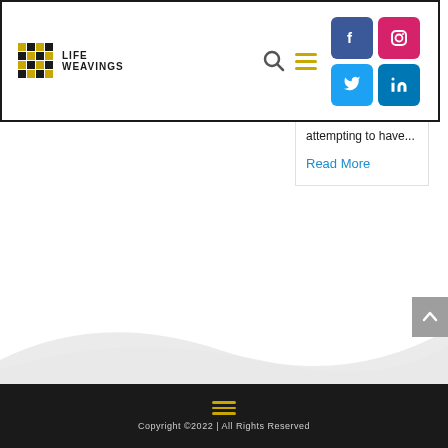[Figure (screenshot): Life Weavings website header with logo, search icon, hamburger menu icon, and social media buttons (Facebook, Instagram, Twitter, LinkedIn)]
attempting to have...
Read More
[Figure (illustration): Gray wave background above footer]
Copyright ©2022 | All Rights Reserved